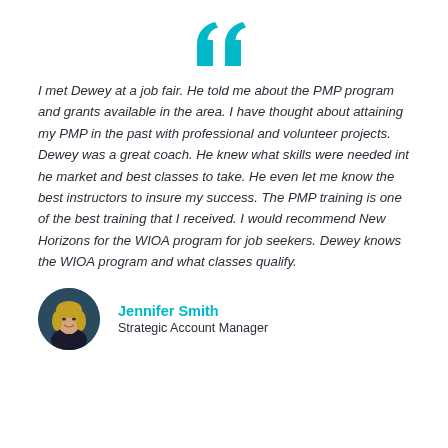[Figure (illustration): Large cyan/teal decorative double open-quotation mark symbol centered at top]
I met Dewey at a job fair. He told me about the PMP program and grants available in the area. I have thought about attaining my PMP in the past with professional and volunteer projects. Dewey was a great coach. He knew what skills were needed int he market and best classes to take. He even let me know the best instructors to insure my success. The PMP training is one of the best training that I received. I would recommend New Horizons for the WIOA program for job seekers. Dewey knows the WIOA program and what classes qualify.
[Figure (photo): Circular headshot photo of Jennifer Smith, a woman with blonde hair wearing a dark jacket, against a dark teal background]
Jennifer Smith
Strategic Account Manager